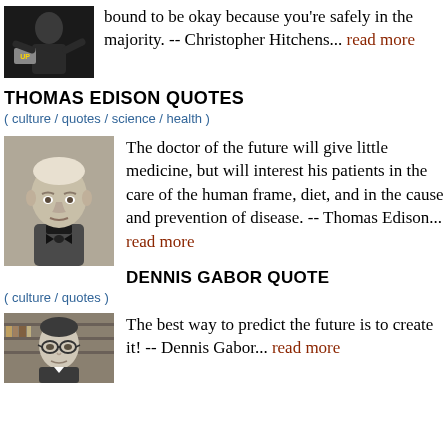bound to be okay because you're safely in the majority. -- Christopher Hitchens... read more
THOMAS EDISON QUOTES
( culture / quotes / science / health )
[Figure (photo): Black and white portrait photo of Thomas Edison, elderly man in suit]
The doctor of the future will give little medicine, but will interest his patients in the care of the human frame, diet, and in the cause and prevention of disease. -- Thomas Edison... read more
DENNIS GABOR QUOTE
( culture / quotes )
[Figure (photo): Black and white portrait photo of Dennis Gabor, man with glasses]
The best way to predict the future is to create it! -- Dennis Gabor... read more